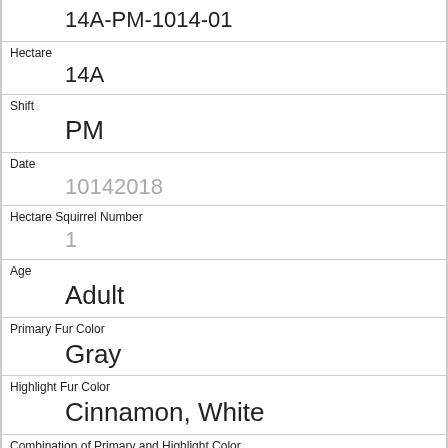14A-PM-1014-01
Hectare
14A
Shift
PM
Date
10142018
Hectare Squirrel Number
1
Age
Adult
Primary Fur Color
Gray
Highlight Fur Color
Cinnamon, White
Combination of Primary and Highlight Color
Gray+Cinnamon, White
Color notes
Location
Ground Pl...